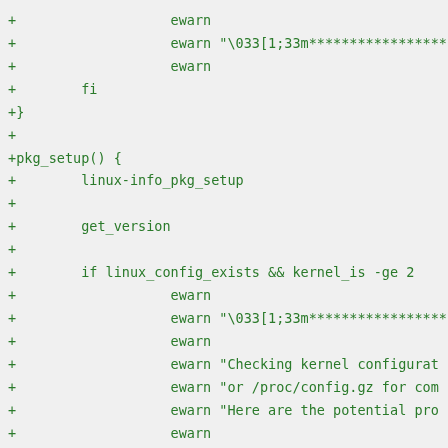+                   ewarn
+                   ewarn "\033[1;33m*****************
+                   ewarn
+        fi
+}
+
+pkg_setup() {
+        linux-info_pkg_setup
+
+        get_version
+
+        if linux_config_exists && kernel_is -ge 2
+                   ewarn
+                   ewarn "\033[1;33m*****************
+                   ewarn
+                   ewarn "Checking kernel configurat
+                   ewarn "or /proc/config.gz for com
+                   ewarn "Here are the potential pro
+                   ewarn
+
+                   local nothing="1"